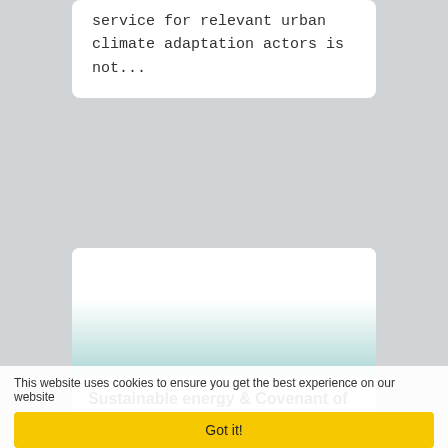service for relevant urban climate adaptation actors is not...
[Figure (illustration): White card with light teal gradient at bottom, representing a decorative image placeholder for an event card.]
Sustainable energy & Covenant of Mayors in our cities. Capacity Building Workshop in Budapest
Thu, 03/17/2011 - 10:09
This website uses cookies to ensure you get the best experience on our website
Got it!